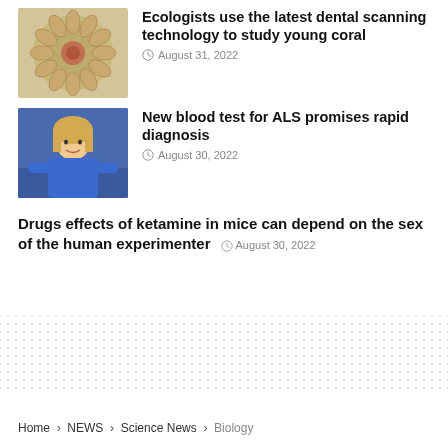[Figure (photo): Close-up photo of a coral specimen, circular/floral shape with tan and reddish tones]
Ecologists use the latest dental scanning technology to study young coral
August 31, 2022
[Figure (photo): Photo of a person with blonde hair wearing a blue top, standing in what appears to be a lab or office]
New blood test for ALS promises rapid diagnosis
August 30, 2022
Drugs effects of ketamine in mice can depend on the sex of the human experimenter  August 30, 2022
Home > NEWS > Science News > Biology